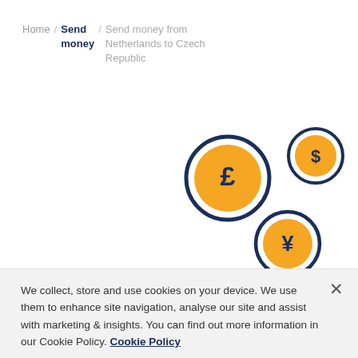Home / Send money / Send money from Netherlands to Czech Republic
[Figure (illustration): Three currency coins with dark navy borders and orange/gold fill: a British pound (£) coin (large, center-left), a US dollar ($) coin (smaller, top-right), and a Japanese yen (¥) coin (medium, bottom-center)]
Transfer money to Czech
We collect, store and use cookies on your device. We use them to enhance site navigation, analyse our site and assist with marketing & insights. You can find out more information in our Cookie Policy. Cookie Policy
Wire money to Czech Republic with